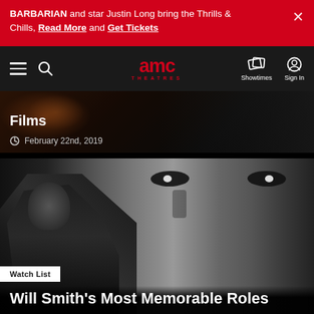BARBARIAN and star Justin Long bring the Thrills & Chills, Read More and Get Tickets
[Figure (screenshot): AMC Theatres navigation bar with hamburger menu, search icon, AMC Theatres logo in red, Showtimes icon, and Sign In icon on dark background]
[Figure (photo): Dark cinematic hero image with warm orange/brown tones showing a market scene, overlaid with white text 'Films' and date 'February 22nd, 2019']
Films
February 22nd, 2019
[Figure (photo): Black and white photo collage showing Will Smith in tactical gear on the left and a large close-up of a face with intense eyes on the right]
Watch List
Will Smith's Most Memorable Roles